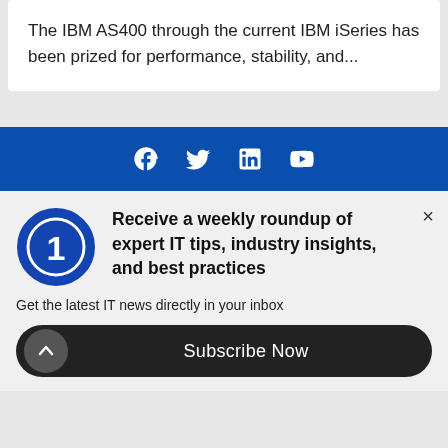The IBM AS400 through the current IBM iSeries has been prized for performance, stability, and...
[Figure (infographic): Dark blue social media bar with Facebook, Twitter, LinkedIn, and YouTube icons in white]
[Figure (logo): Blue circle logo with white number 1 inside]
Receive a weekly roundup of expert IT tips, industry insights, and best practices
Get the latest IT news directly in your inbox
Subscribe Now